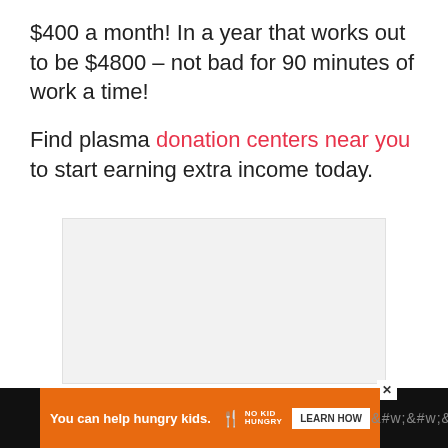$400 a month! In a year that works out to be $4800 – not bad for 90 minutes of work a time!
Find plasma donation centers near you to start earning extra income today.
[Figure (other): Gray placeholder advertisement box with navigation dots below]
[Figure (other): Orange advertisement banner at bottom: 'You can help hungry kids.' with No Kid Hungry logo and LEARN HOW button, on black footer bar with close X button and Whatnot logo]